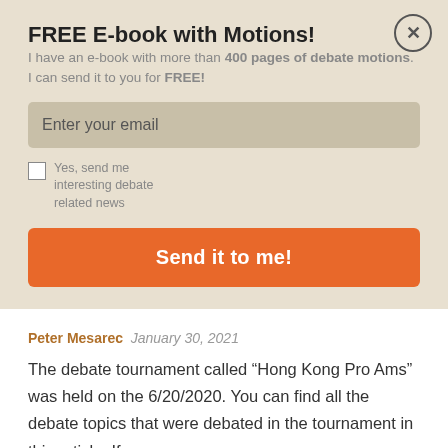FREE E-book with Motions!
I have an e-book with more than 400 pages of debate motions. I can send it to you for FREE!
Enter your email
Yes, send me interesting debate related news
Send it to me!
Peter Mesarec  January 30, 2021
The debate tournament called “Hong Kong Pro Ams” was held on the 6/20/2020. You can find all the debate topics that were debated in the tournament in this article. If …
Read more
2020  _  Comment